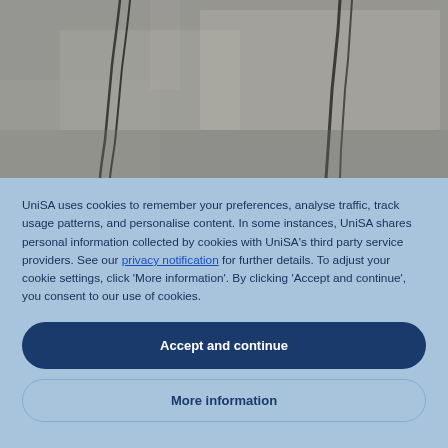[Figure (photo): Aerial or close-up photo of a road or rooftop surface showing dark linear cracks or tracks on a grey concrete/asphalt surface.]
UniSA uses cookies to remember your preferences, analyse traffic, track usage patterns, and personalise content. In some instances, UniSA shares personal information collected by cookies with UniSA's third party service providers. See our privacy notification for further details. To adjust your cookie settings, click 'More information'. By clicking 'Accept and continue', you consent to our use of cookies.
Accept and continue
More information